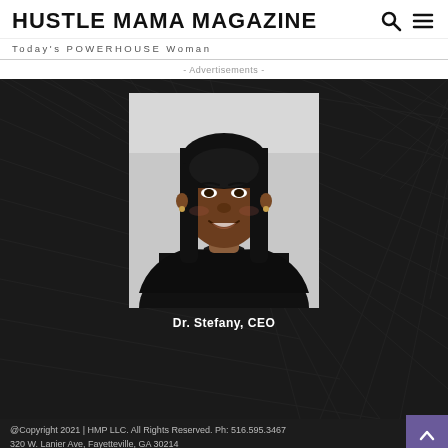HUSTLE MAMA MAGAZINE
Today's POWERHOUSE Woman
- Advertisements -
[Figure (photo): Professional headshot of Dr. Stefany, CEO, a woman with long dark hair wearing a black outfit against a light background]
Dr. Stefany, CEO
@Copyright 2021 | HMP LLC. All Rights Reserved. Ph: 516.595.3467 320 W. Lanier Ave, Fayetteville, GA 30214